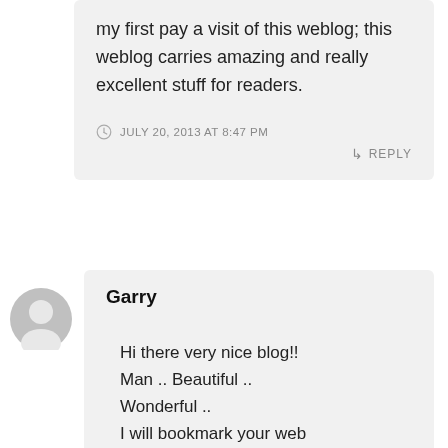my first pay a visit of this weblog; this weblog carries amazing and really excellent stuff for readers.
JULY 20, 2013 AT 8:47 PM
↳ REPLY
Garry
Hi there very nice blog!! Man .. Beautiful .. Wonderful .. I will bookmark your web